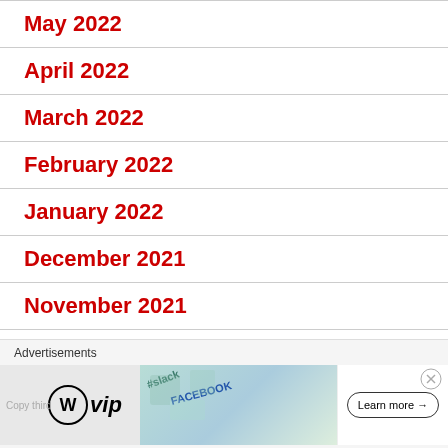May 2022
April 2022
March 2022
February 2022
January 2022
December 2021
November 2021
October 2021
September 2021
Advertisements